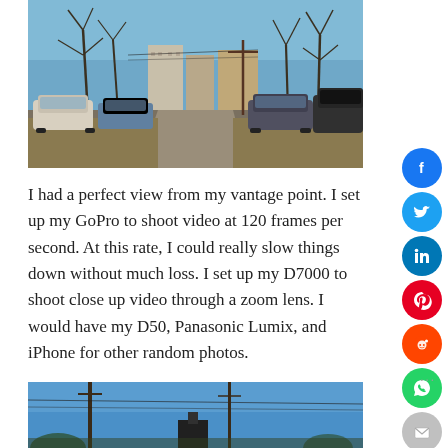[Figure (photo): Outdoor parking lot scene with cars parked on both sides of a gravel road, bare trees in background, urban apartment buildings visible in distance under a blue sky.]
I had a perfect view from my vantage point. I set up my GoPro to shoot video at 120 frames per second. At this rate, I could really slow things down without much loss. I set up my D7000 to shoot close up video through a zoom lens. I would have my D50, Panasonic Lumix, and iPhone for other random photos.
[Figure (photo): Bottom portion of outdoor scene with blue sky, utility poles and wires, and the top of what appears to be a sign or structure.]